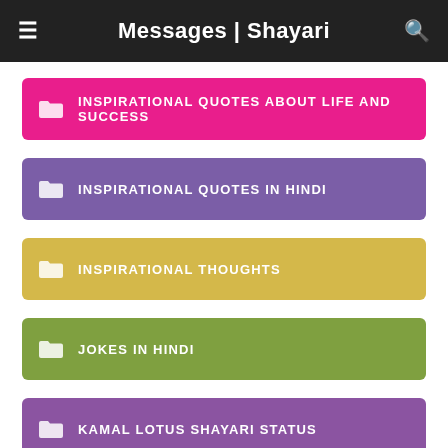Messages | Shayari
INSPIRATIONAL QUOTES ABOUT LIFE AND SUCCESS
INSPIRATIONAL QUOTES IN HINDI
INSPIRATIONAL THOUGHTS
JOKES IN HINDI
KAMAL LOTUS SHAYARI STATUS
KISS DAY SHAYARI
LATEST EMOTIONAL SHAYARI
LATEST MOTIVATIONAL WHATSAPP STATUS